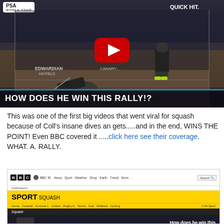[Figure (screenshot): YouTube video thumbnail showing PSA World Tour squash match. A player is diving on the court while another stands watching. Large YouTube play button in center. Bottom banner reads 'HOW DOES HE WIN THIS RALLY!?']
This was one of the first big videos that went viral for squash because of Coll's insane dives an gets.....and in the end, WINS THE POINT! Even BBC covered it .....click here see their coverage. WHAT. A. RALLY.
[Figure (screenshot): BBC Sport Squash webpage screenshot showing navigation bar with BBC logo, BBC ID, News, Sport, Weather, Shop, Earth, Travel, More links, and Search. Yellow sport banner showing 'SPORT SQUASH' with sub-navigation links: Home, Football, Formula 1, Cricket, Rugby U, Tennis, Golf, Athletics, Cycling, All Sport. Black Squash bar. Partial video preview showing 'How does he win this']